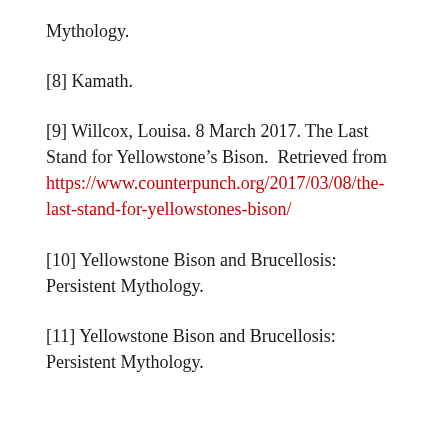Mythology.
[8] Kamath.
[9] Willcox, Louisa. 8 March 2017. The Last Stand for Yellowstone’s Bison.  Retrieved from https://www.counterpunch.org/2017/03/08/the-last-stand-for-yellowstones-bison/
[10] Yellowstone Bison and Brucellosis: Persistent Mythology.
[11] Yellowstone Bison and Brucellosis: Persistent Mythology.